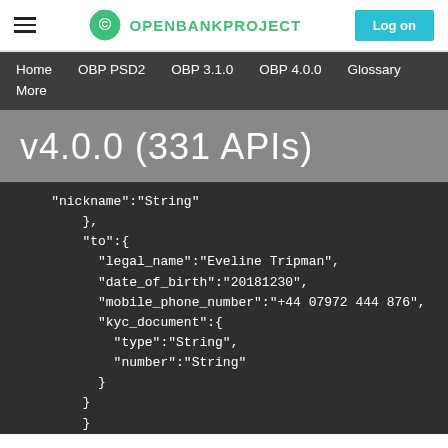OPENBANKPROJECT  Log on
Home  OBP PSD2  OBP 3.1.0  OBP 4.0.0  Glossary  More
v4.0.0 (331 APIs)
"nickname":"String"
},
"to":{
  "legal_name":"Eveline Tripman",
  "date_of_birth":"20181230",
  "mobile_phone_number":"+44 07972 444 876",
  "kyc_document":{
    "type":"String",
    "number":"String"
  }
}